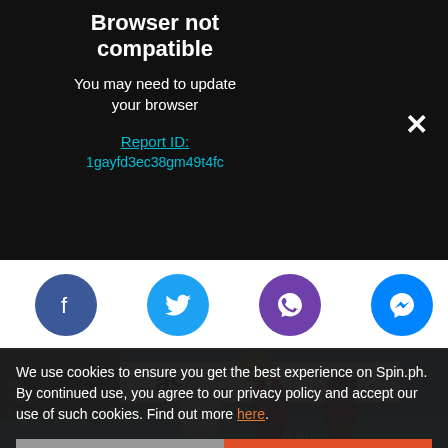Browser not compatible
You may need to update your browser
Report ID:
1gayfd3ec38gm49t4fc
[Figure (screenshot): Social sharing icons row: Facebook (blue circle), Twitter (light blue circle), Viber (purple circle), Messenger (blue circle)]
[Figure (photo): Volleyball match photo showing players jumping at the net with a yellow volleyball, Asics sponsor banner visible, spin.ph watermark]
We use cookies to ensure you get the best experience on Spin.ph. By continued use, you agree to our privacy policy and accept our use of such cookies. Find out more here.
I DISAGREE
I AGREE